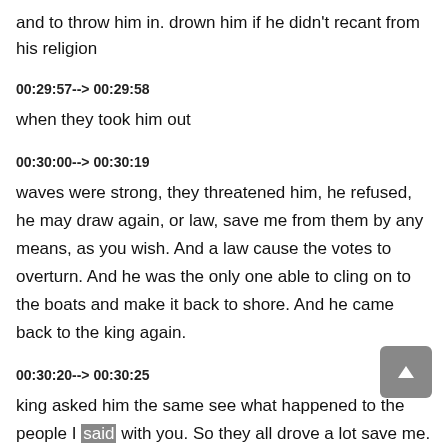and to throw him in. drown him if he didn't recant from his religion
00:29:57--> 00:29:58
when they took him out
00:30:00--> 00:30:19
waves were strong, they threatened him, he refused, he may draw again, or law, save me from them by any means, as you wish. And a law cause the votes to overturn. And he was the only one able to cling on to the boats and make it back to shore. And he came back to the king again.
00:30:20--> 00:30:25
king asked him the same see what happened to the people I said with you. So they all drove a lot save me.